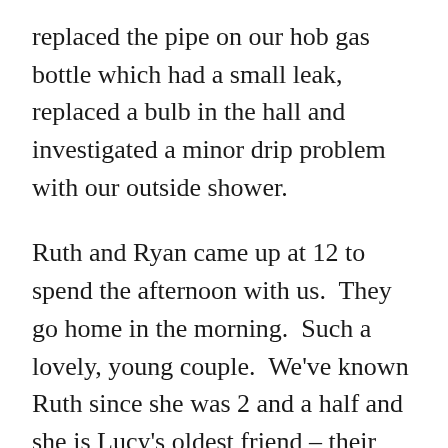replaced the pipe on our hob gas bottle which had a small leak, replaced a bulb in the hall and investigated a minor drip problem with our outside shower.
Ruth and Ryan came up at 12 to spend the afternoon with us.  They go home in the morning.  Such a lovely, young couple.  We've known Ruth since she was 2 and a half and she is Lucy's oldest friend – their birthdays are three days apart.  Lovely to see her so happily married to Ryan and starting their own story and family life.  We chat away, very easy company.  We had a nice lunch on the terrace and then had a long